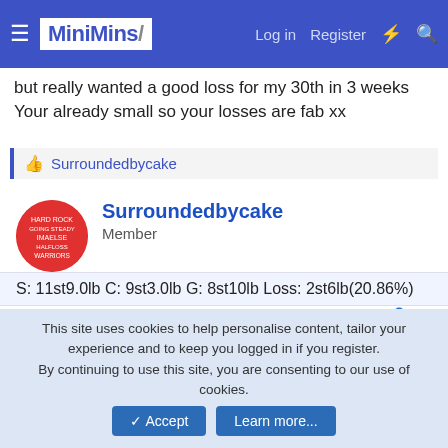MiniMins | Log in  Register
but really wanted a good loss for my 30th in 3 weeks
Your already small so your losses are fab xx
Surroundedbycake
Surroundedbycake
Member
S: 11st9.0lb C: 9st3.0lb G: 8st10lb Loss: 2st6lb(20.86%)
25 January 2019
#11
Hi all
Not sure who checks this but just had my weigh in and I'm 9st
[Figure (screenshot): Instagram popup: Check out our Instagram page MiniMinsDotCom for new content, recipies, ideas and motivation!]
This site uses cookies to help personalise content, tailor your experience and to keep you logged in if you register.
By continuing to use this site, you are consenting to our use of cookies.
Accept   Learn more...